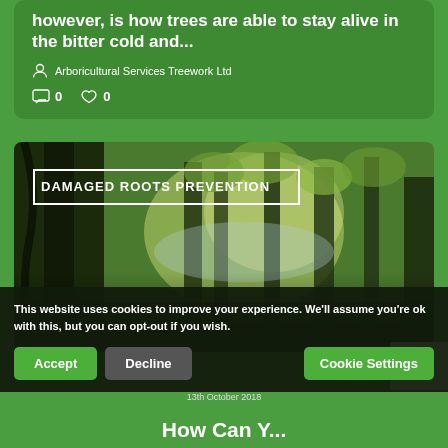however, is how trees are able to stay alive in the bitter cold and...
Arboricultural Services Treework Ltd
0  0
[Figure (photo): Photo of forest/trees with dark tree trunks and autumn foliage, with 'DAMAGED ROOTS PREVENTION' label overlaid]
This website uses cookies to improve your experience. We'll assume you're ok with this, but you can opt-out if you wish.
Accept  Decline  Cookie Settings
13th October 2018
How Can Y...